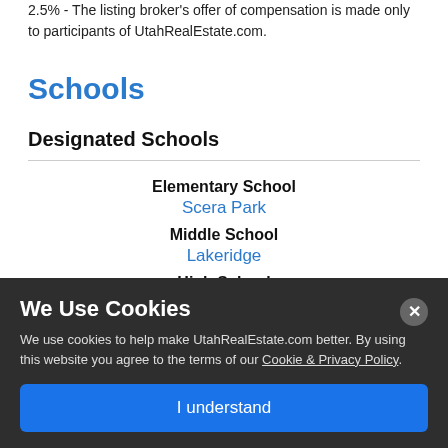2.5% - The listing broker's offer of compensation is made only to participants of UtahRealEstate.com.
Schools
Designated Schools
Elementary School
Scera Park
Middle School
Lakeridge
High School
Orem
School District
We Use Cookies
We use cookies to help make UtahRealEstate.com better. By using this website you agree to the terms of our Cookie & Privacy Policy.
I understand